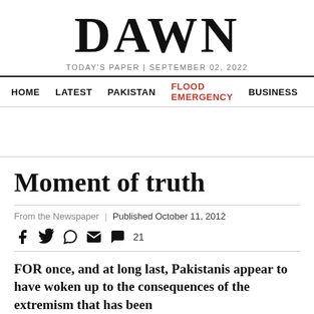DAWN
TODAY'S PAPER | SEPTEMBER 02, 2022
HOME   LATEST   PAKISTAN   FLOOD EMERGENCY   BUSINESS
Moment of truth
From the Newspaper | Published October 11, 2012
social share icons, 21 comments
FOR once, and at long last, Pakistanis appear to have woken up to the consequences of the extremism that has been